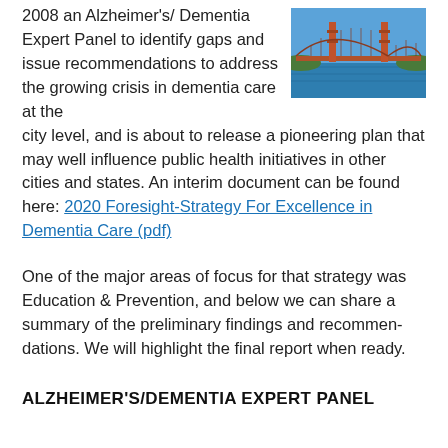2008 an Alzheimer's/ Dementia Expert Panel to identify gaps and issue recommendations to address the growing crisis in dementia care at the city level, and is about to release a pioneering plan that may well influence public health initiatives in other cities and states. An interim document can be found here: 2020 Foresight-Strategy For Excellence in Dementia Care (pdf)
[Figure (photo): Aerial photograph of the Golden Gate Bridge in San Francisco spanning the bay under a blue sky]
One of the major areas of focus for that strategy was Education & Prevention, and below we can share a summary of the preliminary findings and recommendations. We will highlight the final report when ready.
ALZHEIMER'S/DEMENTIA EXPERT PANEL